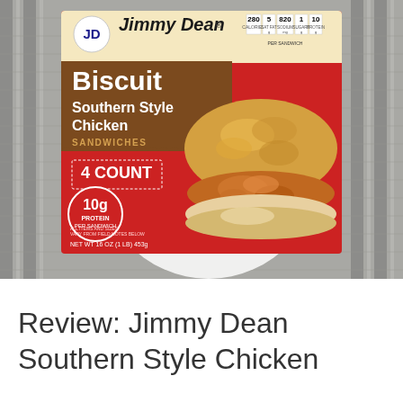[Figure (photo): A Jimmy Dean Biscuit Southern Style Chicken Sandwiches box (4 count, 10g protein, NET WT 16 OZ (1 LB) 453g) sitting on a gray striped placemat on a white plate. The red box features the Jimmy Dean logo, nutrition info (280 calories, 5g sat fat, 820mg sodium, 1g sugars, 10g protein per sandwich), and a photo of a chicken biscuit sandwich.]
Review: Jimmy Dean Southern Style Chicken